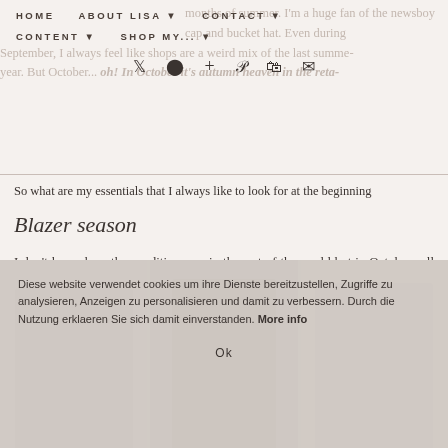HOME  ABOUT LISA  CONTACT  CONTENT  SHOP MY...
months of summer. I'm a huge fan of the newsboy cap and bucket hat style. Even during September, I always feel like shops are a weird mix of the last summe- year. But October... oh! In October it's autumn heaven in the reta-
So what are my essentials that I always like to look for at the beginning
Blazer season
I don't know how the conditions are in the rest of the world but in October call for blazer season. It's not as hot anymore that we can get a coats are still too warm. So my favorite time of the year begins. I just l short dresses, especially when they are black. This is a great way to tra season and get even more wear out of them.
[Figure (photo): Three fashion images showing women in autumn outfits, partially obscured by cookie consent banner]
Diese website verwendet cookies um ihre Dienste bereitzustellen, Zugriffe zu analysieren, Anzeigen zu personalisieren und damit zu verbessern. Durch die Nutzung erklaeren Sie sich damit einverstanden. More info